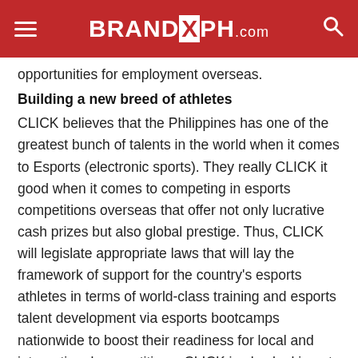BRANDXPH.com
opportunities for employment overseas.
Building a new breed of athletes
CLICK believes that the Philippines has one of the greatest bunch of talents in the world when it comes to Esports (electronic sports). They really CLICK it good when it comes to competing in esports competitions overseas that offer not only lucrative cash prizes but also global prestige. Thus, CLICK will legislate appropriate laws that will lay the framework of support for the country's esports athletes in terms of world-class training and esports talent development via esports bootcamps nationwide to boost their readiness for local and international competitions. CLICK is also looking at giving legislative recognition for esports athletes, much in the same way as traditional sports athletes, including enough flexibility in their travel requirements given the hectic schedule of esports competitions worldwide. An esports